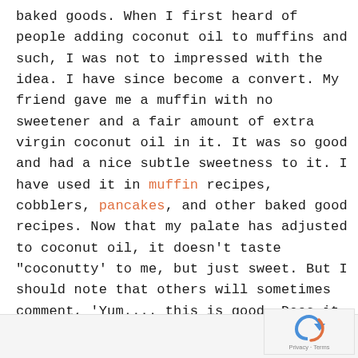baked goods. When I first heard of people adding coconut oil to muffins and such, I was not to impressed with the idea. I have since become a convert. My friend gave me a muffin with no sweetener and a fair amount of extra virgin coconut oil in it. It was so good and had a nice subtle sweetness to it. I have used it in muffin recipes, cobblers, pancakes, and other baked good recipes. Now that my palate has adjusted to coconut oil, it doesn't taste "coconutty' to me, but just sweet. But I should note that others will sometimes comment, 'Yum.... this is good. Does it have coconut oil in it?". So I know that others do taste that coconut flavor.
[Figure (logo): reCAPTCHA logo with Privacy + Terms text]